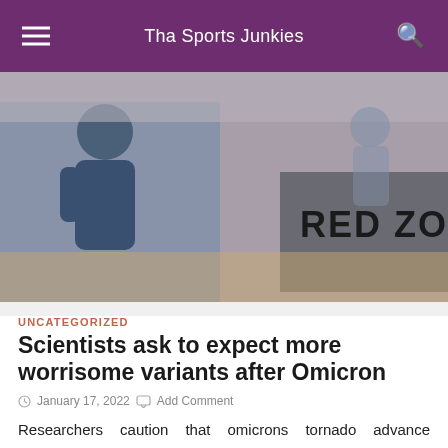Tha Sports Junkies
[Figure (photo): A person standing near a sign that reads RED ZONE, outdoor setting]
UNCATEGORIZED
Scientists ask to expect more worrisome variants after Omicron
January 17, 2022   Add Comment
Researchers caution that omicrons tornado advance essentially guarantees it will not be the last form of the Covid to stress the world. Each contamination...